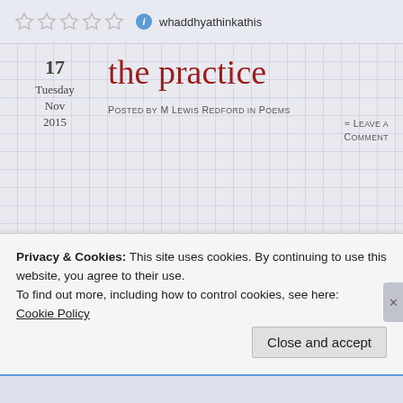whaddhyathinkathis
17
Tuesday
Nov
2015
the practice
Posted by M Lewis Redford in poems
≈ Leave a comment
Tags
Privacy & Cookies: This site uses cookies. By continuing to use this website, you agree to their use.
To find out more, including how to control cookies, see here:
Cookie Policy
Close and accept